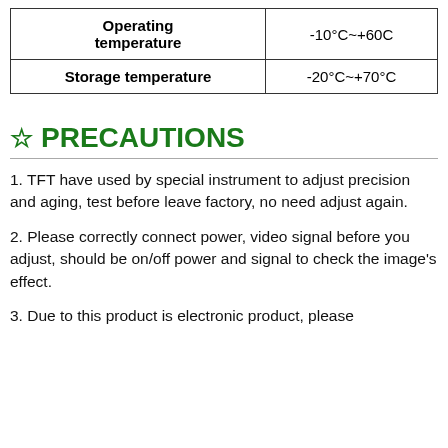| Operating temperature | -10°C~+60C |
| Storage temperature | -20°C~+70°C |
☆ PRECAUTIONS
1. TFT have used by special instrument to adjust precision and aging, test before leave factory, no need adjust again.
2. Please correctly connect power, video signal before you adjust, should be on/off power and signal to check the image's effect.
3. Due to this product is electronic product, please